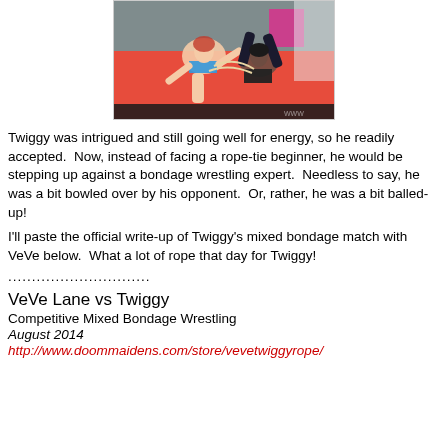[Figure (photo): Two wrestlers on a red mat, one in blue bikini top and one in black shorts and stockings]
Twiggy was intrigued and still going well for energy, so he readily accepted.  Now, instead of facing a rope-tie beginner, he would be stepping up against a bondage wrestling expert.  Needless to say, he was a bit bowled over by his opponent.  Or, rather, he was a bit balled-up!
I'll paste the official write-up of Twiggy’s mixed bondage match with VeVe below.  What a lot of rope that day for Twiggy!
..............................
VeVe Lane vs Twiggy
Competitive Mixed Bondage Wrestling
August 2014
http://www.doommaidens.com/store/vevetwiggyrope/